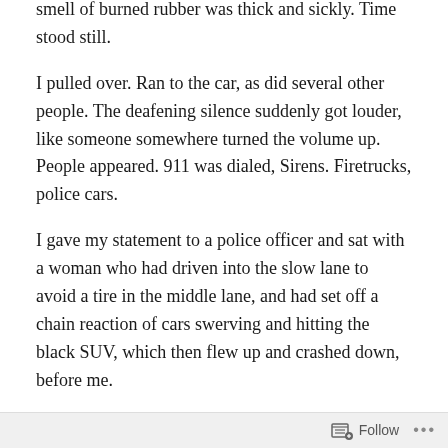smell of burned rubber was thick and sickly. Time stood still.
I pulled over. Ran to the car, as did several other people. The deafening silence suddenly got louder, like someone somewhere turned the volume up. People appeared. 911 was dialed, Sirens. Firetrucks, police cars.
I gave my statement to a police officer and sat with a woman who had driven into the slow lane to avoid a tire in the middle lane, and had set off a chain reaction of cars swerving and hitting the black SUV, which then flew up and crashed down, before me.
That car had been innocently driving down the highway, going from A to B, minding its own business when, out of nowhere, everything was quite literally turned upside
Follow ...